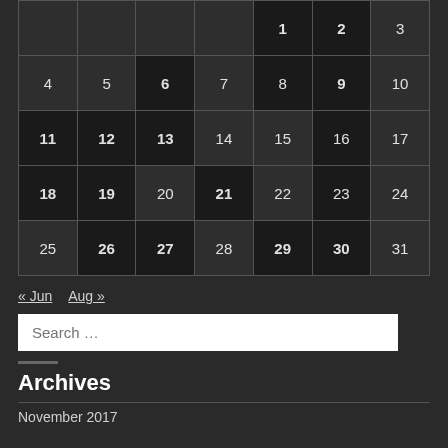|  |  |  |  | 1 | 2 | 3 |
| 4 | 5 | 6 | 7 | 8 | 9 | 10 |
| 11 | 12 | 13 | 14 | 15 | 16 | 17 |
| 18 | 19 | 20 | 21 | 22 | 23 | 24 |
| 25 | 26 | 27 | 28 | 29 | 30 | 31 |
« Jun  Aug »
Search …
Archives
November 2017